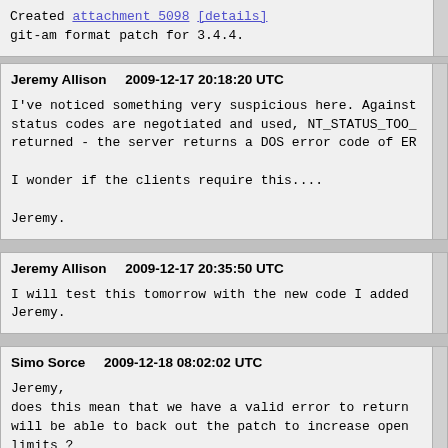Created attachment 5098 [details]
git-am format patch for 3.4.4.
Jeremy Allison    2009-12-17 20:18:20 UTC
I've noticed something very suspicious here. Against status codes are negotiated and used, NT_STATUS_TOO_ returned - the server returns a DOS error code of ER

I wonder if the clients require this....

Jeremy.
Jeremy Allison    2009-12-17 20:35:50 UTC
I will test this tomorrow with the new code I added
Jeremy.
Simo Sorce    2009-12-18 08:02:02 UTC
Jeremy,
does this mean that we have a valid error to return
will be able to back out the patch to increase open
limits ?